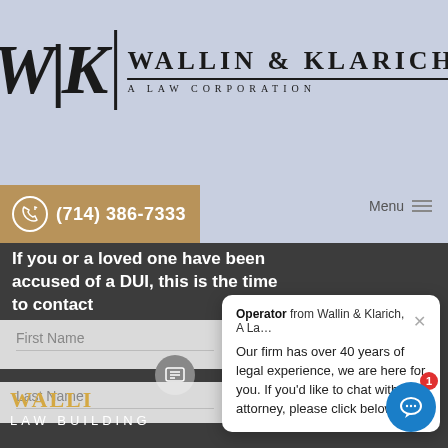[Figure (logo): Wallin & Klarich law firm logo with WK monogram and 'A Law Corporation' tagline]
(714) 386-7333
Menu
If you or a loved one have been accused of a DUI, this is the time to contact
First Name
Last Name
Operator from Wallin & Klarich, A La... Our firm has over 40 years of legal experience, we are here for you. If you'd like to chat with an attorney, please click below👋
WALLIN LAW BUILDING